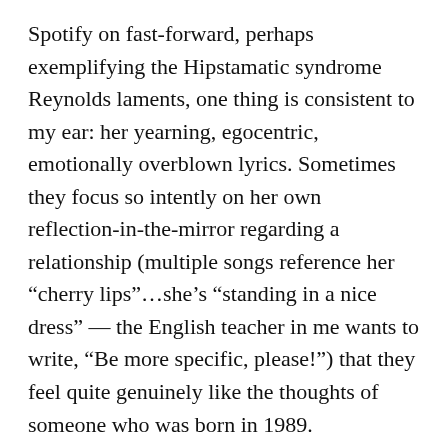Spotify on fast-forward, perhaps exemplifying the Hipstamatic syndrome Reynolds laments, one thing is consistent to my ear: her yearning, egocentric, emotionally overblown lyrics. Sometimes they focus so intently on her own reflection-in-the-mirror regarding a relationship (multiple songs reference her “cherry lips”...she’s “standing in a nice dress” — the English teacher in me wants to write, “Be more specific, please!”) that they feel quite genuinely like the thoughts of someone who was born in 1989.
But other times, her pure, almost senseless longing, and vague but affectionate descriptions of her young, man-of-the-moment feel quite